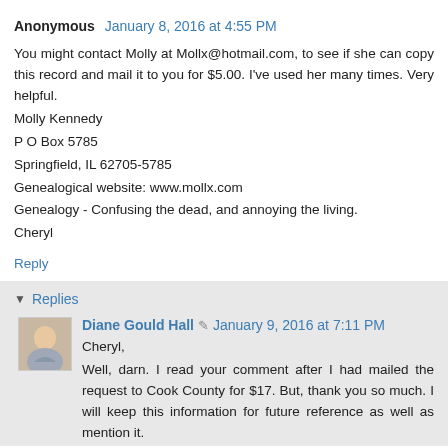Anonymous  January 8, 2016 at 4:55 PM
You might contact Molly at Mollx@hotmail.com, to see if she can copy this record and mail it to you for $5.00. I've used her many times. Very helpful.
Molly Kennedy
P O Box 5785
Springfield, IL 62705-5785
Genealogical website: www.mollx.com
Genealogy - Confusing the dead, and annoying the living.
Cheryl
Reply
Replies
Diane Gould Hall  January 9, 2016 at 7:11 PM
Cheryl,
Well, darn. I read your comment after I had mailed the request to Cook County for $17. But, thank you so much. I will keep this information for future reference as well as mention it.